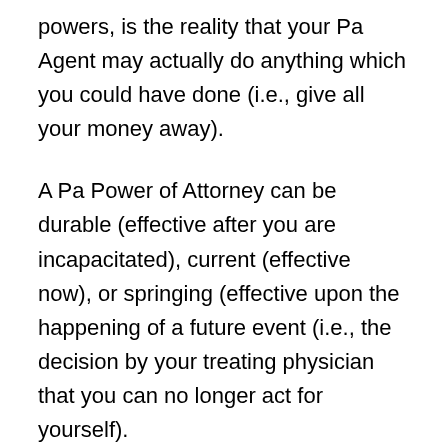powers, is the reality that your Pa Agent may actually do anything which you could have done (i.e., give all your money away).
A Pa Power of Attorney can be durable (effective after you are incapacitated), current (effective now), or springing (effective upon the happening of a future event (i.e., the decision by your treating physician that you can no longer act for yourself).
A common misconception is that a Pa Power of Attorney eliminates your ability to act for yourself. Quite to the contrary, and until you are deemed incapacitated, a Pa Power of Attorney should properly be viewed as a shared authority – you